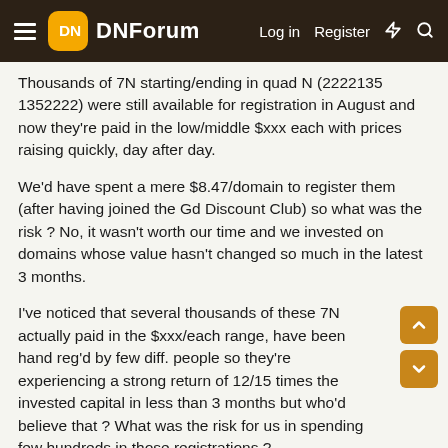DNForum — Log in  Register
Thousands of 7N starting/ending in quad N (2222135 1352222) were still available for registration in August and now they're paid in the low/middle $xxx each with prices raising quickly, day after day.
We'd have spent a mere $8.47/domain to register them (after having joined the Gd Discount Club) so what was the risk ? No, it wasn't worth our time and we invested on domains whose value hasn't changed so much in the latest 3 months.
I've noticed that several thousands of these 7N actually paid in the $xxx/each range, have been hand reg'd by few diff. people so they're experiencing a strong return of 12/15 times the invested capital in less than 3 months but who'd believe that ? What was the risk for us in spending few hundreds in those registrations ?